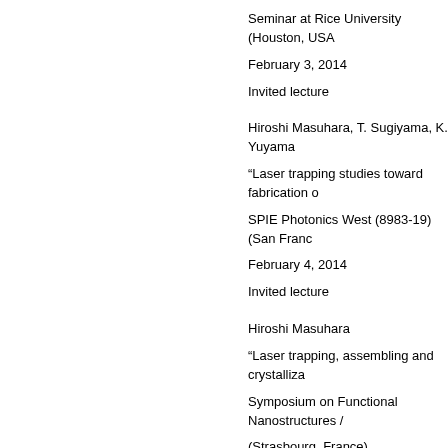Seminar at Rice University (Houston, USA
February 3, 2014
Invited lecture
Hiroshi Masuhara, T. Sugiyama, K. Yuyama
“Laser trapping studies toward fabrication o
SPIE Photonics West (8983-19) (San Franc
February 4, 2014
Invited lecture
Hiroshi Masuhara
“Laser trapping, assembling and crystalliza
Symposium on Functional Nanostructures /
(Strasbourg, France)
January 31, 2014
Hiroshi Masuhara
“A millimeter-sized assembly of amino acio
JSPS Grant-in-Aid for Scientific Research